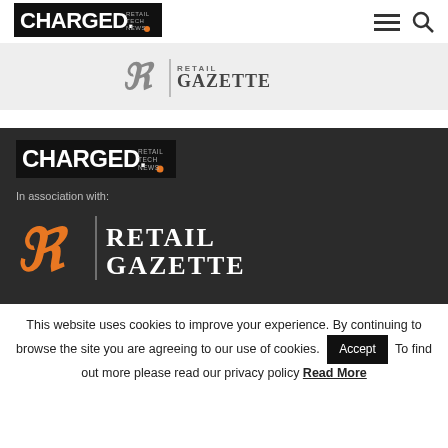[Figure (logo): Charged Retail Tech News logo in nav bar, black background with orange dot]
[Figure (logo): Retail Gazette logo on light grey background strip]
[Figure (logo): Charged Retail Tech News logo on dark background in footer]
In association with:
[Figure (logo): Retail Gazette logo with orange RG icon on dark background]
This website uses cookies to improve your experience. By continuing to browse the site you are agreeing to our use of cookies. Accept To find out more please read our privacy policy Read More